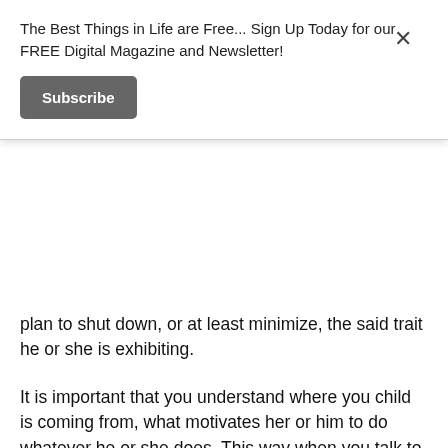The Best Things in Life are Free... Sign Up Today for our FREE Digital Magazine and Newsletter!
Subscribe
plan to shut down, or at least minimize, the said trait he or she is exhibiting.
It is important that you understand where you child is coming from, what motivates her or him to do whatever he or she does. This way when you talk to him or her, you will have all the cards that you need to make him or him realize that it is a bad thing.
Getting a counselor can also be helpful since they can detect serious behavioral issues that are anchored on mental health problems. Is there a possibility that your has attention deficit hyperactivity disorder or autism?